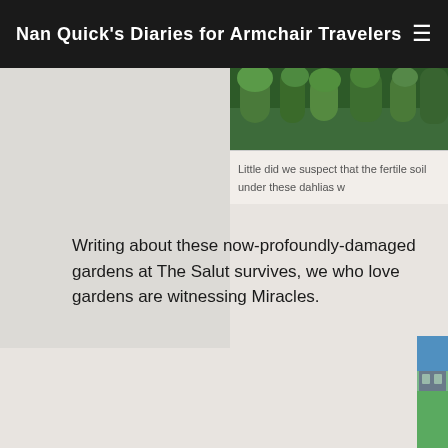Nan Quick's Diaries for Armchair Travelers
[Figure (photo): Partially visible photo of dahlias in fertile soil, cropped at top of page]
Little did we suspect that the fertile soil under these dahlias w
Writing about these now-profoundly-damaged gardens at The Salut survives, we who love gardens are witnessing Miracles.
[Figure (photo): Partially visible photo of a large English manor house with red brick exterior, multiple chimneys, formal windows, green lawn in foreground, trees behind]